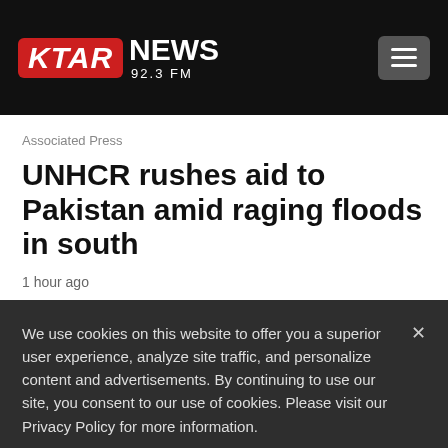KTAR NEWS 92.3 FM
Associated Press
UNHCR rushes aid to Pakistan amid raging floods in south
1 hour ago
We use cookies on this website to offer you a superior user experience, analyze site traffic, and personalize content and advertisements. By continuing to use our site, you consent to our use of cookies. Please visit our Privacy Policy for more information.
Accept Cookies